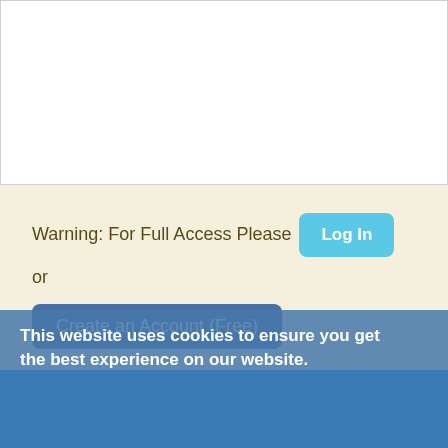[Figure (screenshot): White content area, top portion of a web page]
Warning: For Full Access Please Log In or Create an Account (Free)
This website uses cookies to ensure you get the best experience on our website.
Learn more
Got it!